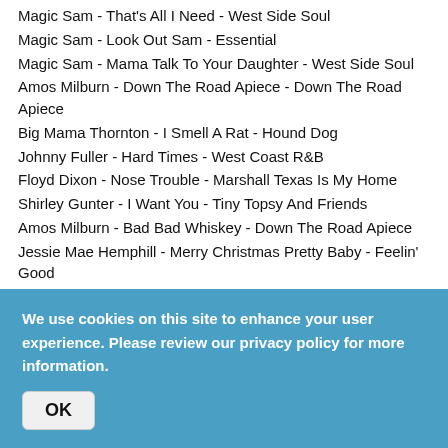Magic Sam - That's All I Need - West Side Soul
Magic Sam - Look Out Sam - Essential
Magic Sam - Mama Talk To Your Daughter - West Side Soul
Amos Milburn - Down The Road Apiece - Down The Road Apiece
Big Mama Thornton - I Smell A Rat - Hound Dog
Johnny Fuller - Hard Times - West Coast R&B
Floyd Dixon - Nose Trouble - Marshall Texas Is My Home
Shirley Gunter - I Want You - Tiny Topsy And Friends
Amos Milburn - Bad Bad Whiskey - Down The Road Apiece
Jessie Mae Hemphill - Merry Christmas Pretty Baby - Feelin' Good
10pm
We use cookies on this site to enhance your user experience. Please review our privacy policy for more information.
OK